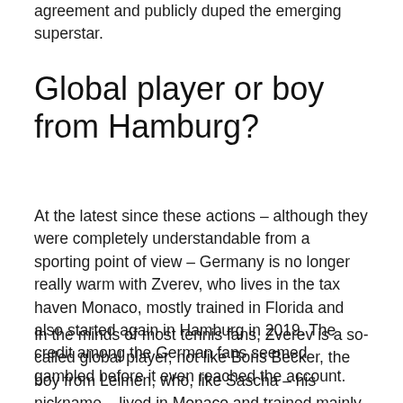agreement and publicly duped the emerging superstar.
Global player or boy from Hamburg?
At the latest since these actions – although they were completely understandable from a sporting point of view – Germany is no longer really warm with Zverev, who lives in the tax haven Monaco, mostly trained in Florida and also started again in Hamburg in 2019. The credit among the German fans seemed gambled before it even reached the account.
In the minds of most tennis fans, Zverev is a so-called global player, not like Boris Becker, the boy from Leimen, who, like Sascha – his nickname – lived in Monaco and trained mainly in the USA. Do you